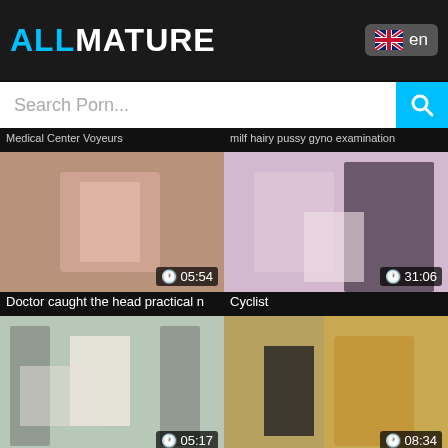ALLMATURE
Search Porn...
Medical Center Voyeurs | Milf hairy pussy gyno examination
[Figure (screenshot): Video thumbnail - medical close-up, duration 05:54]
Doctor caught the head practical n
[Figure (screenshot): Video thumbnail - group scene, duration 31:06]
Cyclist
[Figure (screenshot): Video thumbnail - medical exam scene, duration 05:17]
Milfs Mature Mature Alena obgyn p
[Figure (screenshot): Video thumbnail - latex scene, duration 08:34]
Latex Machine 3
[Figure (screenshot): Video thumbnail - partial, bottom left]
[Figure (screenshot): Video thumbnail - partial, bottom right]